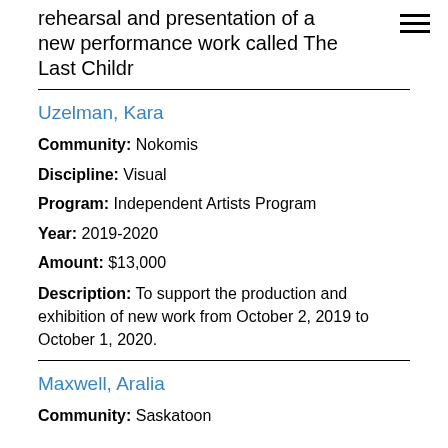rehearsal and presentation of a new performance work called The Last Childr
Uzelman, Kara
Community: Nokomis
Discipline: Visual
Program: Independent Artists Program
Year: 2019-2020
Amount: $13,000
Description: To support the production and exhibition of new work from October 2, 2019 to October 1, 2020.
Maxwell, Aralia
Community: Saskatoon